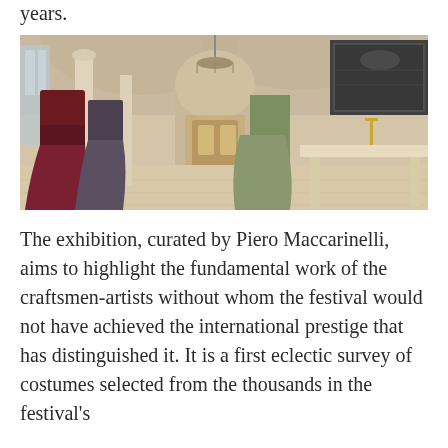years.
[Figure (photo): Interior hallway of an ornate building with arched ceilings, columns, and a chandelier. Several period costume dresses on mannequins are displayed along the corridor, including dark red and grey gowns on the left and a green gown on the right. A long decorative table is visible on the right side, with candelabras. Black and white historical photographs hang on the right wall.]
The exhibition, curated by Piero Maccarinelli, aims to highlight the fundamental work of the craftsmen-artists without whom the festival would not have achieved the international prestige that has distinguished it. It is a first eclectic survey of costumes selected from the thousands in the festival's